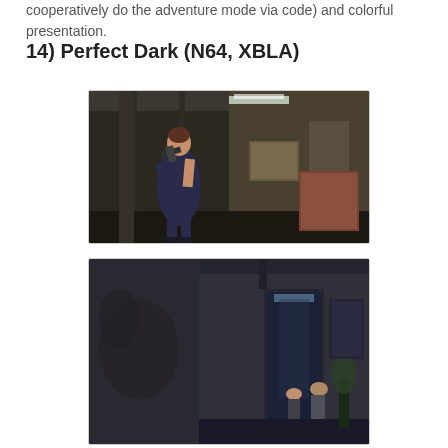cooperatively do the adventure mode via code) and colorful presentation.
14) Perfect Dark (N64, XBLA)
[Figure (photo): Screenshot of Perfect Dark game showing the female protagonist Joanna Dark in a grey jumpsuit holding a weapon, standing in an industrial corridor environment. N64/XBLA game screenshot.]
[Figure (photo): Second screenshot of Perfect Dark game showing a darker scene with characters in a corridor with a door and lighting effects. N64/XBLA game screenshot.]